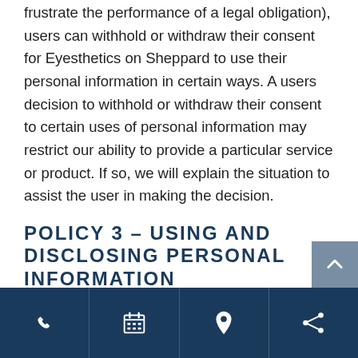frustrate the performance of a legal obligation), users can withhold or withdraw their consent for Eyesthetics on Sheppard to use their personal information in certain ways. A users decision to withhold or withdraw their consent to certain uses of personal information may restrict our ability to provide a particular service or product. If so, we will explain the situation to assist the user in making the decision.
POLICY 3 – USING AND DISCLOSING PERSONAL INFORMATION
[Figure (other): Bottom navigation bar with four icons: phone, calendar, location pin, and share]